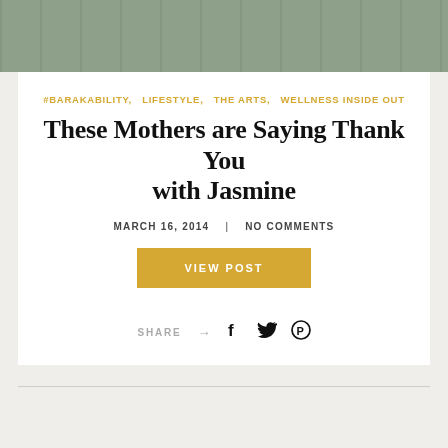[Figure (photo): Group photo of people, partially cropped at the top of the page]
#BARAKABILITY,  LIFESTYLE,  THE ARTS,  WELLNESS INSIDE OUT
These Mothers are Saying Thank You with Jasmine
MARCH 16, 2014    NO COMMENTS
VIEW POST
SHARE → f t ⓟ
[Figure (other): Large grey text reading GOOD NEWS at the bottom of the page]